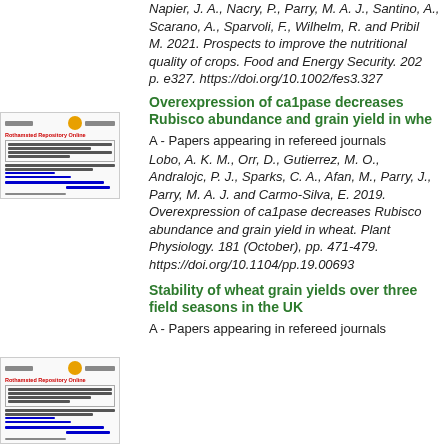Napier, J. A., Nacry, P., Parry, M. A. J., Santino, A., Scarano, A., Sparvoli, F., Wilhelm, R. and Pribilova, M. 2021. Prospects to improve the nutritional quality of crops. Food and Energy Security. 2021, p. e327. https://doi.org/10.1002/fes3.327
[Figure (screenshot): Thumbnail of academic paper page for 'Overexpression of ca1pase decreases Rubisco abundance and grain yield in wheat']
Overexpression of ca1pase decreases Rubisco abundance and grain yield in whe
A - Papers appearing in refereed journals
Lobo, A. K. M., Orr, D., Gutierrez, M. O., Andralojc, P. J., Sparks, C. A., Afan, M., Parry, J., Parry, M. A. J. and Carmo-Silva, E. 2019. Overexpression of ca1pase decreases Rubisco abundance and grain yield in wheat. Plant Physiology. 181 (October), pp. 471-479. https://doi.org/10.1104/pp.19.00693
[Figure (screenshot): Thumbnail of academic paper page for 'Stability of wheat grain yields over three field seasons in the UK']
Stability of wheat grain yields over three field seasons in the UK
A - Papers appearing in refereed journals